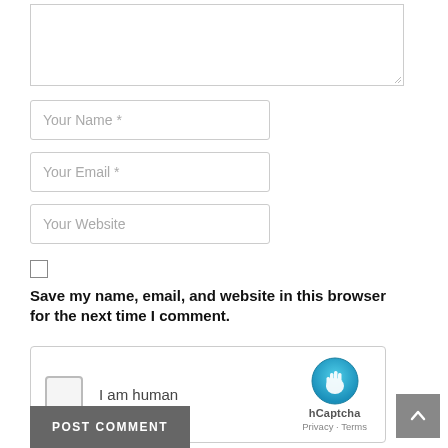[Figure (screenshot): A comment form section showing a textarea at top, three input fields (Your Name *, Your Email *, Your Website), a checkbox with label, an hCaptcha widget, a POST COMMENT button, and a scroll-to-top button.]
Your Name *
Your Email *
Your Website
Save my name, email, and website in this browser for the next time I comment.
I am human
hCaptcha
Privacy - Terms
POST COMMENT